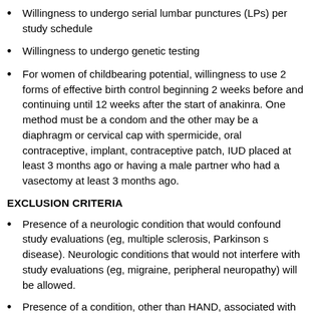Willingness to undergo serial lumbar punctures (LPs) per study schedule
Willingness to undergo genetic testing
For women of childbearing potential, willingness to use 2 forms of effective birth control beginning 2 weeks before and continuing until 12 weeks after the start of anakinra. One method must be a condom and the other may be a diaphragm or cervical cap with spermicide, oral contraceptive, implant, contraceptive patch, IUD placed at least 3 months ago or having a male partner who had a vasectomy at least 3 months ago.
EXCLUSION CRITERIA
Presence of a neurologic condition that would confound study evaluations (eg, multiple sclerosis, Parkinson s disease). Neurologic conditions that would not interfere with study evaluations (eg, migraine, peripheral neuropathy) will be allowed.
Presence of a condition, other than HAND, associated with